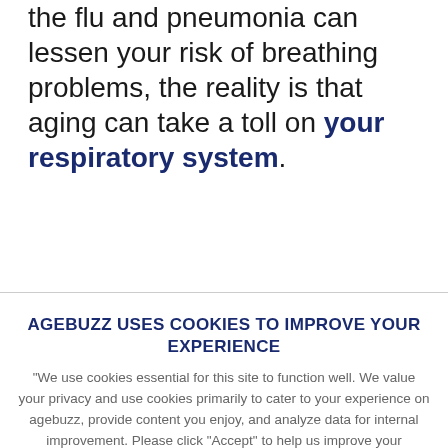the flu and pneumonia can lessen your risk of breathing problems, the reality is that aging can take a toll on your respiratory system.
AGEBUZZ USES COOKIES TO IMPROVE YOUR EXPERIENCE
"We use cookies essential for this site to function well. We value your privacy and use cookies primarily to cater to your experience on agebuzz, provide content you enjoy, and analyze data for internal improvement. Please click "Accept" to help us improve your experience.
ACCEPT
Do not use cookies